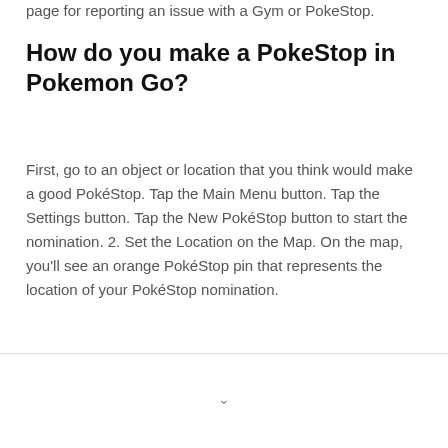page for reporting an issue with a Gym or PokeStop.
How do you make a PokeStop in Pokemon Go?
First, go to an object or location that you think would make a good PokéStop. Tap the Main Menu button. Tap the Settings button. Tap the New PokéStop button to start the nomination. 2. Set the Location on the Map. On the map, you'll see an orange PokéStop pin that represents the location of your PokéStop nomination.